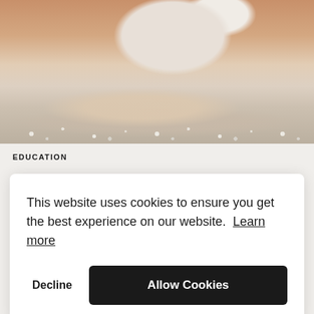[Figure (photo): Close-up photo of hands scrubbing a leg with a white soap bar in a bathtub with soapy foam on the surface]
EDUCATION
This website uses cookies to ensure you get the best experience on our website. Learn more
Decline   Allow Cookies